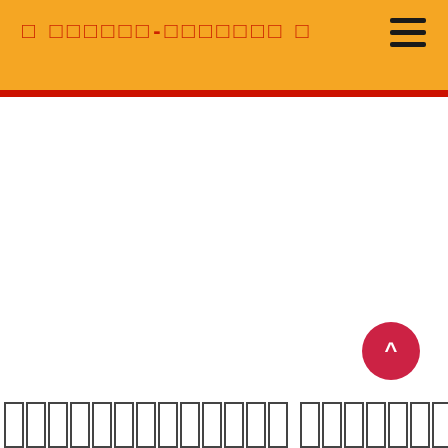□ □□□□□□-□□□□□□□ □
[Figure (screenshot): Mobile app screenshot with orange header bar containing red text title and hamburger menu icon, red divider line, white content area, red circular scroll-to-top button with caret symbol, and partial view of navigation boxes at the bottom]